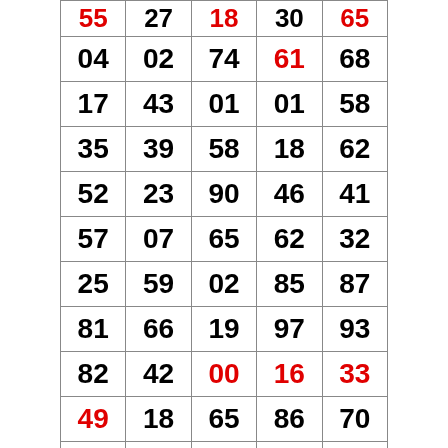| 55 | 27 | 18 | 30 | 65 |
| 04 | 02 | 74 | 61 | 68 |
| 17 | 43 | 01 | 01 | 58 |
| 35 | 39 | 58 | 18 | 62 |
| 52 | 23 | 90 | 46 | 41 |
| 57 | 07 | 65 | 62 | 32 |
| 25 | 59 | 02 | 85 | 87 |
| 81 | 66 | 19 | 97 | 93 |
| 82 | 42 | 00 | 16 | 33 |
| 49 | 18 | 65 | 86 | 70 |
| 38 | 00 | 26 | 89 | 44 |